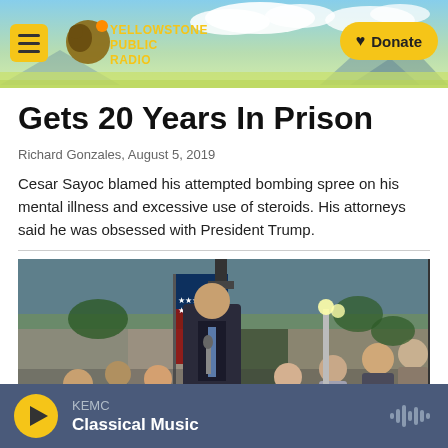Yellowstone Public Radio — Donate
Gets 20 Years In Prison
Richard Gonzales,  August 5, 2019
Cesar Sayoc blamed his attempted bombing spree on his mental illness and excessive use of steroids. His attorneys said he was obsessed with President Trump.
[Figure (photo): A man in a dark suit holding a microphone speaks at an outdoor gathering. An American flag hangs behind him. A crowd of people sit and stand behind him.]
KEMC Classical Music